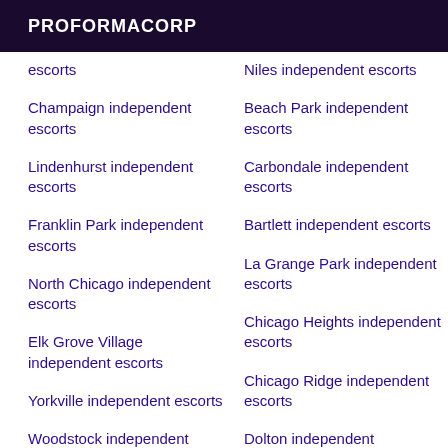PROFORMACORP
escorts
Champaign independent escorts
Lindenhurst independent escorts
Franklin Park independent escorts
North Chicago independent escorts
Elk Grove Village independent escorts
Yorkville independent escorts
Woodstock independent escorts
Niles independent escorts
Beach Park independent escorts
Carbondale independent escorts
Bartlett independent escorts
La Grange Park independent escorts
Chicago Heights independent escorts
Chicago Ridge independent escorts
Dolton independent